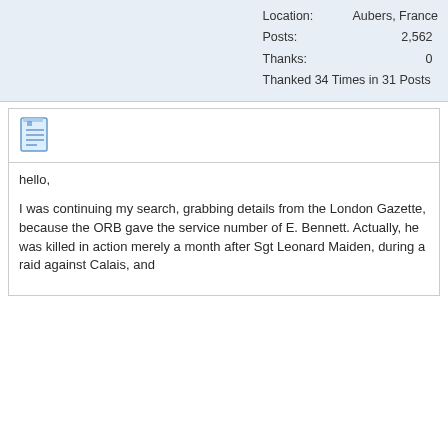Location: Aubers, France
Posts: 2,562
Thanks: 0
Thanked 34 Times in 31 Posts
[Figure (illustration): Document/notes icon in blue]
hello,

I was continuing my search, grabbing details from the London Gazette, because the ORB gave the service number of E. Bennett. Actually, he was killed in action merely a month after Sgt Leonard Maiden, during a raid against Calais, and